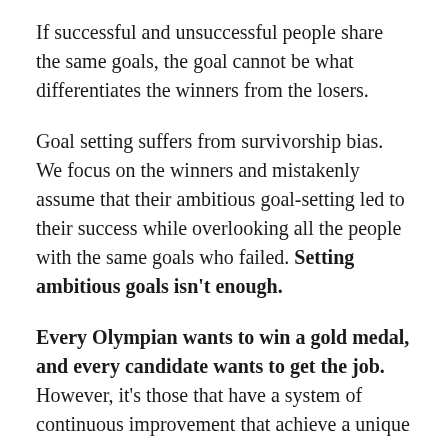If successful and unsuccessful people share the same goals, the goal cannot be what differentiates the winners from the losers.
Goal setting suffers from survivorship bias. We focus on the winners and mistakenly assume that their ambitious goal-setting led to their success while overlooking all the people with the same goals who failed. Setting ambitious goals isn't enough.
Every Olympian wants to win a gold medal, and every candidate wants to get the job. However, it's those that have a system of continuous improvement that achieve a unique outcome.